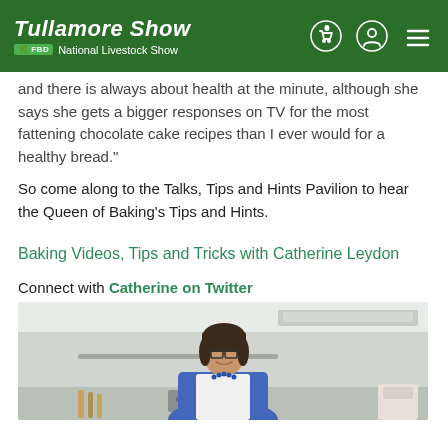Tullamore Show | FBD National Livestock Show
and there is always about health at the minute, although she says she gets a bigger responses on TV for the most fattening chocolate cake recipes than I ever would for a healthy bread."
So come along to the Talks, Tips and Hints Pavilion to hear the Queen of Baking's Tips and Hints.
Baking Videos, Tips and Tricks with Catherine Leydon
Connect with Catherine on Twitter
[Figure (photo): Photo of Catherine Leydon, a woman with short dark hair and glasses, wearing a white apron over a blue cardigan, smiling in a kitchen setting]